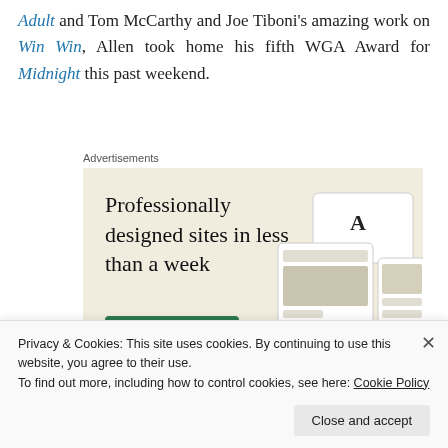Adult and Tom McCarthy and Joe Tiboni's amazing work on Win Win, Allen took home his fifth WGA Award for Midnight this past weekend.
Advertisements
[Figure (other): Advertisement banner with beige background showing 'Professionally designed sites in less than a week' with a green 'Explore options' button and mockup screenshots of websites.]
Privacy & Cookies: This site uses cookies. By continuing to use this website, you agree to their use.
To find out more, including how to control cookies, see here: Cookie Policy
Close and accept